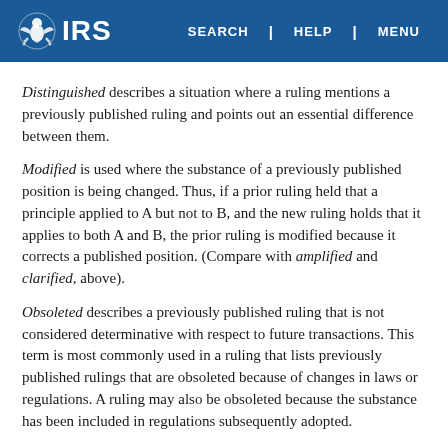IRS — SEARCH | HELP | MENU
Distinguished describes a situation where a ruling mentions a previously published ruling and points out an essential difference between them.
Modified is used where the substance of a previously published position is being changed. Thus, if a prior ruling held that a principle applied to A but not to B, and the new ruling holds that it applies to both A and B, the prior ruling is modified because it corrects a published position. (Compare with amplified and clarified, above).
Obsoleted describes a previously published ruling that is not considered determinative with respect to future transactions. This term is most commonly used in a ruling that lists previously published rulings that are obsoleted because of changes in laws or regulations. A ruling may also be obsoleted because the substance has been included in regulations subsequently adopted.
Revoked describes situations where the position in the previously published ruling is not correct and the correct